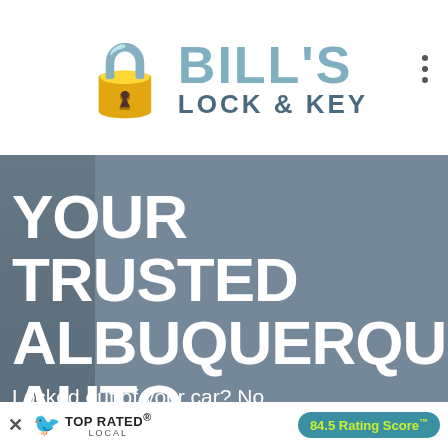[Figure (logo): Bill's Lock & Key logo with a gold padlock icon on the left, and text 'BILL'S' in large teal letters above 'LOCK & KEY' in dark teal. Three vertical dots (menu icon) on the far right.]
YOUR TRUSTED ALBUQUERQUE AUTO LOCKSMITH
Locked out of your car? No worries! The team at Bill's
[Figure (infographic): Top Rated Local badge showing a teal bird icon, 'TOP RATED' in bold, 'LOCAL' below, and a teal pill badge reading '84.5 Rating Score™' in yellow-green text. An X close button on the left.]